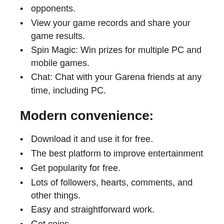opponents.
View your game records and share your game results.
Spin Magic: Win prizes for multiple PC and mobile games.
Chat: Chat with your Garena friends at any time, including PC.
Modern convenience:
Download it and use it for free.
The best platform to improve entertainment
Get popularity for free.
Lots of followers, hearts, comments, and other things.
Easy and straightforward work.
Get coins.